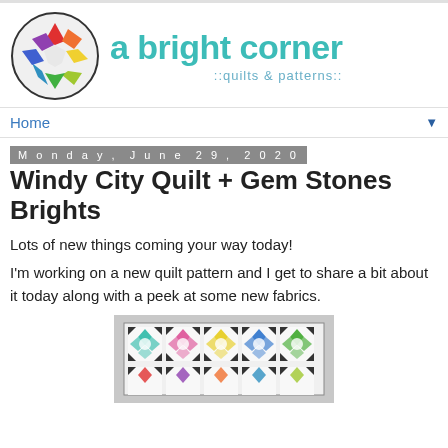[Figure (logo): A bright corner blog logo: colorful star quilt block in a circle, with site name 'a bright corner' and subtitle '::quilts & patterns::']
Home
Monday, June 29, 2020
Windy City Quilt + Gem Stones Brights
Lots of new things coming your way today!
I'm working on a new quilt pattern and I get to share a bit about it today along with a peek at some new fabrics.
[Figure (photo): A quilt with colorful star blocks arranged in a horizontal row on a gray background, partially visible at the bottom of the page.]